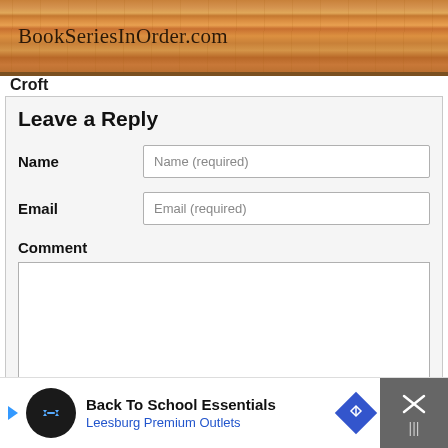BookSeriesInOrder.com
Croft
Leave a Reply
Name
Name (required)
Email
Email (required)
Comment
Submit
[Figure (screenshot): Advertisement bar at bottom: Back To School Essentials - Leesburg Premium Outlets]